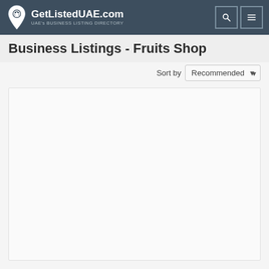GetListedUAE.com — UAE's BUSINESS LISTING DIRECTORY
Business Listings - Fruits Shop
Sort by Recommended
[Figure (other): Empty content card area with light background]